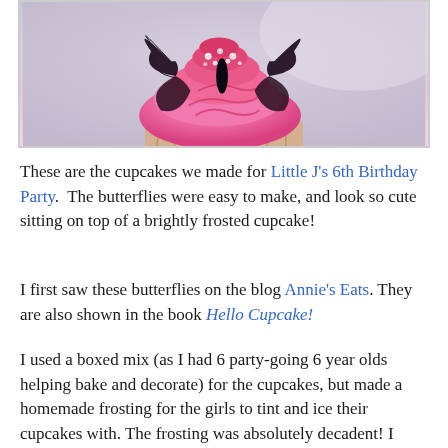[Figure (photo): Close-up photo of a cupcake with pink frosting and dark chocolate butterfly decorations with silver sprinkles on top, in a floral cupcake liner]
These are the cupcakes we made for Little J's 6th Birthday Party.  The butterflies were easy to make, and look so cute sitting on top of a brightly frosted cupcake!
I first saw these butterflies on the blog Annie's Eats. They are also shown in the book Hello Cupcake!
I used a boxed mix (as I had 6 party-going 6 year olds helping bake and decorate) for the cupcakes, but made a homemade frosting for the girls to tint and ice their cupcakes with. The frosting was absolutely decadent! I